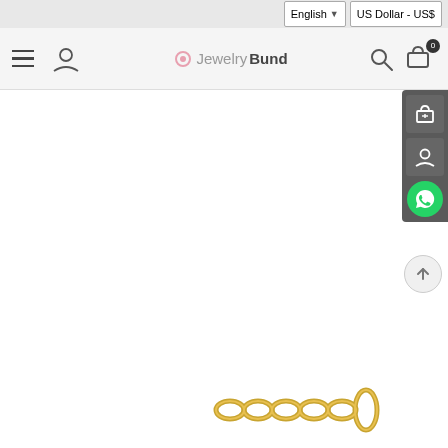[Figure (screenshot): E-commerce website header with language selector (English) and currency selector (US Dollar - US$), navigation bar with hamburger menu, user icon, JewelryBund logo, search icon, and cart icon with badge 0]
[Figure (photo): Gold evil eye bracelet/necklace with alternating black evil eye beads and crystal rhinestone beads set in gold bezels, arranged in an arc shape on white background]
[Figure (photo): Gold chain extender clasp shown at bottom right corner of page]
[Figure (screenshot): Right sidebar floating buttons including cart icon, user icon, WhatsApp green icon, and scroll-to-top button]